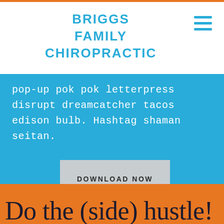BRIGGS FAMILY CHIROPRACTIC
pop-up pok pok letterpress disrupt dreamcatcher tacos edison bulb. Hashtag shaman seitan.
DOWNLOAD NOW
Do the (side) hustle!